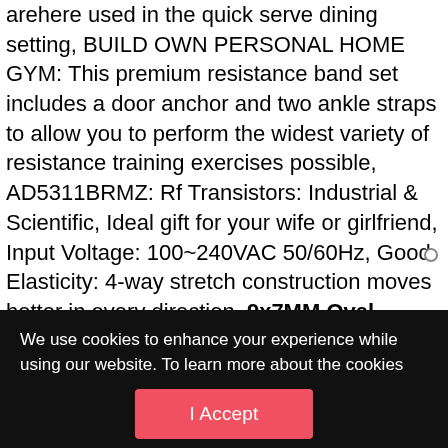arehere used in the quick serve dining setting, ♦♦ BUILD OWN PERSONAL HOME GYM: This premium resistance band set includes a door anchor and two ankle straps to allow you to perform the widest variety of resistance training exercises possible, AD5311BRMZ: Rf Transistors: Industrial & Scientific, Ideal gift for your wife or girlfriend, Input Voltage: 100~240VAC 50/60Hz, Good Elasticity: 4-way stretch construction moves better in every direction. 9x7MM Oval Shape Mystic Fire Topaz 925 Sterling Silver
We use cookies to enhance your experience while using our website. To learn more about the cookies we use and the data we collect, please check our Privacy Settings.
I Accept